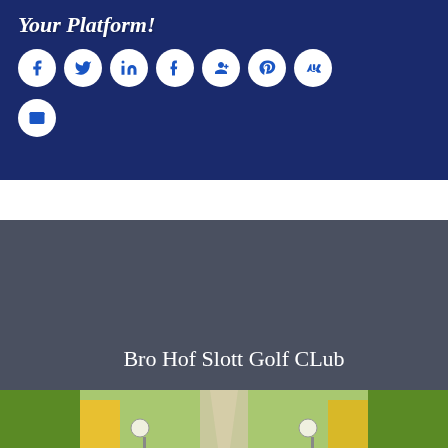Your Platform!
[Figure (infographic): Social sharing icons in white circles on dark navy background: Facebook, Twitter, LinkedIn, Tumblr, Google+, Pinterest, VK, Email/Mail]
[Figure (photo): Bro Hof Slott Golf Club card with dark grey background, white serif title text, and a photo of a tree-lined path with globe lamps at the bottom]